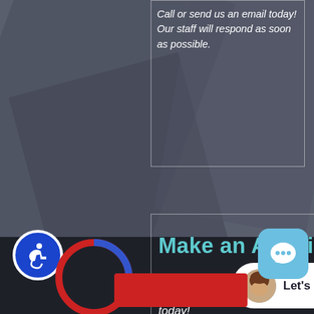Call or send us an email today! Our staff will respond as soon as possible.
Make an Appointment
We will do our best to accommodate your busy schedule. Schedule an appointment today!
[Figure (screenshot): Live chat widget with avatar photo and 'Let's Chat?' text]
[Figure (other): Accessibility icon (wheelchair symbol) in blue circle]
[Figure (other): Chat app icon in light blue rounded square at bottom right]
[Figure (donut-chart): Partial circular chart visible at bottom of page]